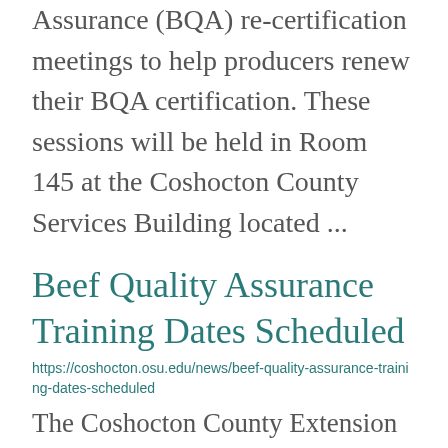Assurance (BQA) re-certification meetings to help producers renew their BQA certification. These sessions will be held in Room 145 at the Coshocton County Services Building located ...
Beef Quality Assurance Training Dates Scheduled
https://coshocton.osu.edu/news/beef-quality-assurance-training-dates-scheduled
The Coshocton County Extension office will be offering two Beef Quality Assurance (BQA) re-certification meetings to help producers renew their BQA certification. These sessions will be held in